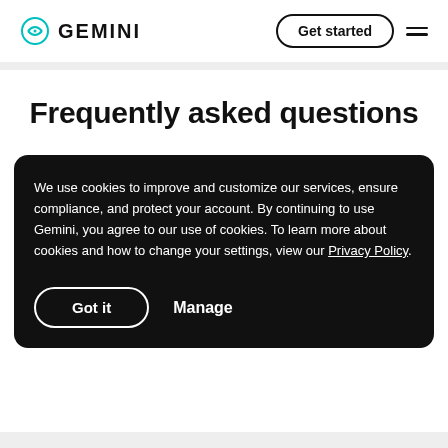GEMINI | Get started
Frequently asked questions
We use cookies to improve and customize our services, ensure compliance, and protect your account. By continuing to use Gemini, you agree to our use of cookies. To learn more about cookies and how to change your settings, view our Privacy Policy.
Got it | Manage